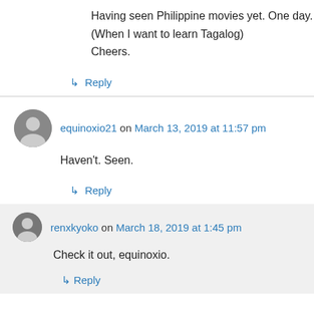Having seen Philippine movies yet. One day.
(When I want to learn Tagalog)
Cheers.
↳ Reply
equinoxio21 on March 13, 2019 at 11:57 pm
Haven't. Seen.
↳ Reply
renxkyoko on March 18, 2019 at 1:45 pm
Check it out, equinoxio.
↳ Reply